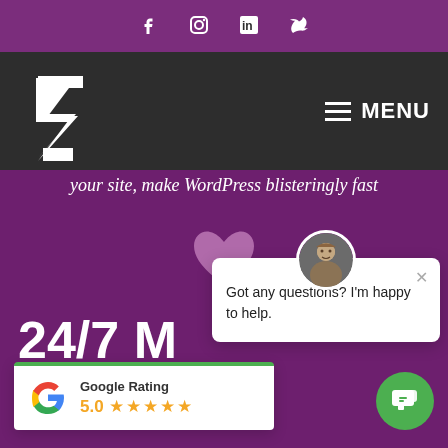Social media icons: Facebook, Instagram, LinkedIn, Twitter
[Figure (logo): White angular arrow/lightning bolt logo on dark background with MENU hamburger icon]
your site, make WordPress blisteringly fast
[Figure (illustration): Pink/mauve heart icon]
24/7 M...
any time of day. And we'll o.
[Figure (screenshot): Chat popup with avatar photo of man, text: Got any questions? I'm happy to help. Close X button.]
[Figure (infographic): Google Rating popup showing 5.0 stars rating with Google G logo]
[Figure (other): Green circular chat button with chat bubble icon]